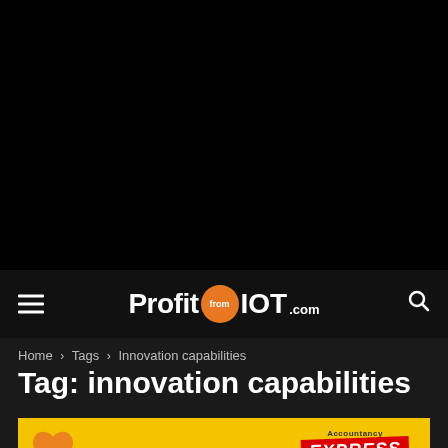[Figure (logo): ProfitFromIOT.com logo with orange circle containing 'from' text, displayed in white on dark navigation bar]
Home › Tags › Innovation capabilities
Tag: innovation capabilities
[Figure (photo): Yellow advertisement banner with orange heart shape and Express magazine label on the right side]